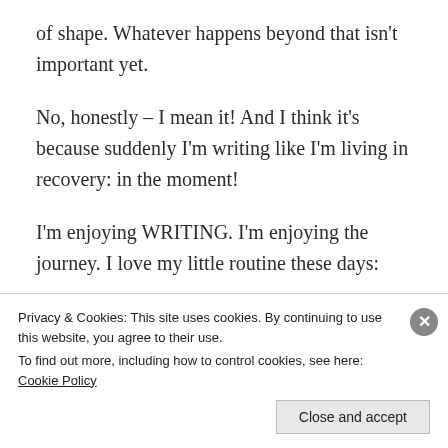of shape. Whatever happens beyond that isn't important yet.
No, honestly – I mean it! And I think it's because suddenly I'm writing like I'm living in recovery: in the moment!
I'm enjoying WRITING. I'm enjoying the journey. I love my little routine these days:
Wake up and not have a hangover –
HALLELUJAH! This never gets old!!
Privacy & Cookies: This site uses cookies. By continuing to use this website, you agree to their use.
To find out more, including how to control cookies, see here: Cookie Policy
Close and accept